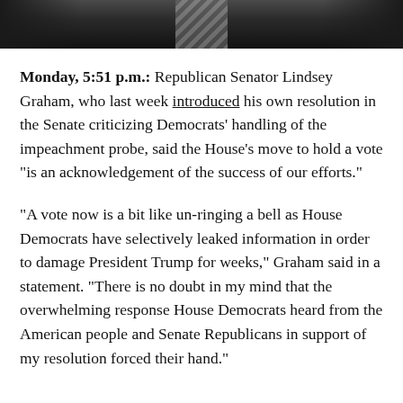[Figure (photo): Cropped photo of a man in a dark suit and striped tie, showing only the lower face and torso area.]
Monday, 5:51 p.m.: Republican Senator Lindsey Graham, who last week introduced his own resolution in the Senate criticizing Democrats' handling of the impeachment probe, said the House's move to hold a vote "is an acknowledgement of the success of our efforts."
"A vote now is a bit like un-ringing a bell as House Democrats have selectively leaked information in order to damage President Trump for weeks," Graham said in a statement. "There is no doubt in my mind that the overwhelming response House Democrats heard from the American people and Senate Republicans in support of my resolution forced their hand."